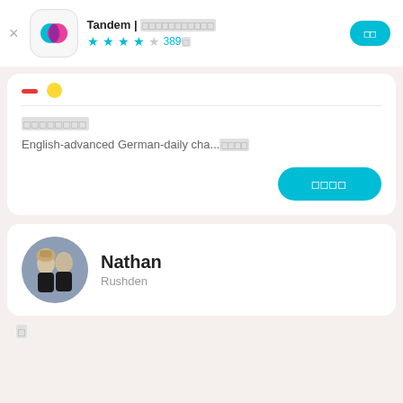Tandem | 外国語を学ぼう ★★★★☆ 389件
相手のプロフィール
English-advanced German-daily cha...もっと見る
メッセージを送る
Nathan
Rushden